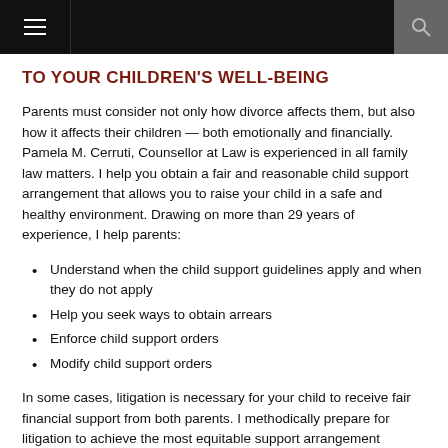TO YOUR CHILDREN'S WELL-BEING
Parents must consider not only how divorce affects them, but also how it affects their children — both emotionally and financially. Pamela M. Cerruti, Counsellor at Law is experienced in all family law matters. I help you obtain a fair and reasonable child support arrangement that allows you to raise your child in a safe and healthy environment. Drawing on more than 29 years of experience, I help parents:
Understand when the child support guidelines apply and when they do not apply
Help you seek ways to obtain arrears
Enforce child support orders
Modify child support orders
In some cases, litigation is necessary for your child to receive fair financial support from both parents. I methodically prepare for litigation to achieve the most equitable support arrangement